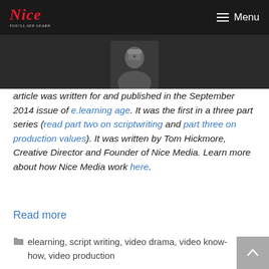Nice | Menu
[Figure (photo): Partial photo of a person against a dark background, cropped at the top showing head/upper body]
article was written for and published in the September 2014 issue of e.learning age. It was the first in a three part series (read part two on scriptwriting and part three on production values). It was written by Tom Hickmore, Creative Director and Founder of Nice Media. Learn more about how Nice Media work here.
Read more
elearning, script writing, video drama, video know-how, video production